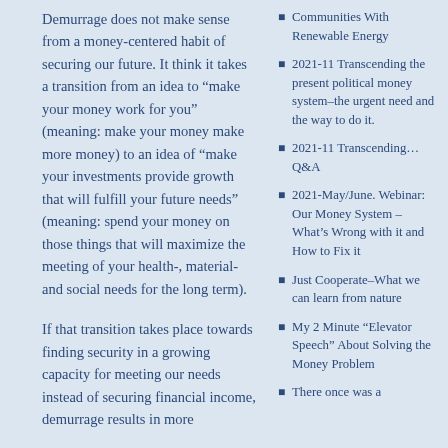Demurrage does not make sense from a money-centered habit of securing our future. It think it takes a transition from an idea to “make your money work for you” (meaning: make your money make more money) to an idea of “make your investments provide growth that will fulfill your future needs” (meaning: spend your money on those things that will maximize the meeting of your health-, material- and social needs for the long term).
If that transition takes place towards finding security in a growing capacity for meeting our needs instead of securing financial income, demurrage results in more
Communities With Renewable Energy
2021-11 Transcending the present political money system–the urgent need and the way to do it.
2021-11 Transcending… Q&A
2021-May/June. Webinar: Our Money System – What’s Wrong with it and How to Fix it
Just Cooperate–What we can learn from nature
My 2 Minute “Elevator Speech” About Solving the Money Problem
There once was a